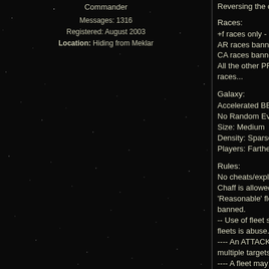Commander
Messages: 1316
Registered: August 2003
Location: Hiding from Meklar
Reversing the concept of RWIAB...
Races:
+f races only - defined as factory settings MUST be 15/x/25
AR races banned
CA races banned (because of orbital adjuster)
All the other PRTs are fine, but I'd *prefer* not to see any HE races...
Galaxy:
Accelerated BBS Play: Enabled
No Random Events: Enabled
Size: Medium
Density: Sparse
Players: Farther
Rules:
No cheats/exploits are permitted
Chaff is allowed
'Reasonable' fleet splitting is permitted, 'abuse' of fleet splitting is banned.
-- Use of fleet splitting to try to get attacking fleets past defending fleets is abuse.
---- An ATTACKING fleet may only be split in order to attack multiple targets.
---- A fleet may be split as many times as you like IF the ENTIRE fleet is RETREATING.
Victory:
Rank 1 after 2525
PPS after 2510